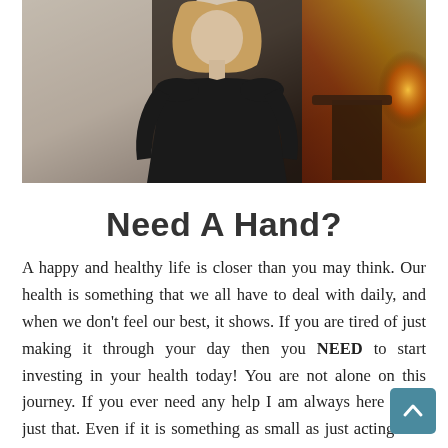[Figure (photo): A woman with blonde hair wearing a black top, photographed indoors with a fireplace visible in the background.]
Need A Hand?
A happy and healthy life is closer than you may think. Our health is something that we all have to deal with daily, and when we don't feel our best, it shows. If you are tired of just making it through your day then you NEED to start investing in your health today! You are not alone on this journey. If you ever need any help I am always here to do just that. Even if it is something as small as just acting as a sounding board. Do you have any questions or concerns I can help you with? Feel